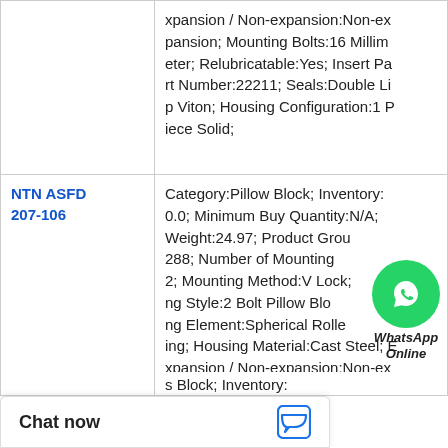| Product | Description |
| --- | --- |
|  | xpansion / Non-expansion:Non-expansion; Mounting Bolts:16 Millimeter; Relubricatable:Yes; Insert Part Number:22211; Seals:Double Lip Viton; Housing Configuration:1 Piece Solid; |
| NTN ASFD 207-106 | Category:Pillow Block; Inventory:0.0; Minimum Buy Quantity:N/A; Weight:24.97; Product Group:M06288; Number of Mounting Holes:2; Mounting Method:V Lock; Housing Style:2 Bolt Pillow Block; Rolling Element:Spherical Roller Bearing; Housing Material:Cast Steel; Expansion / Non-expansion:Non-expansion; Mounting Bolts:7/8 Inch; Relubricatable:Yes; Insert Part Number:22220; Seals:Triple Lip Urethane; Housing Configuration:1 Pie... |
|  | s Block; Inventory: |
[Figure (other): WhatsApp Online chat widget with green circle icon and WhatsApp Online label]
Chat now